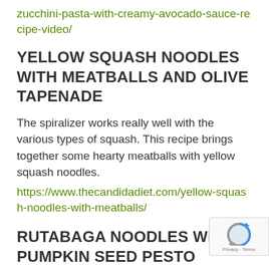zucchini-pasta-with-creamy-avocado-sauce-recipe-video/
YELLOW SQUASH NOODLES WITH MEATBALLS AND OLIVE TAPENADE
The spiralizer works really well with the various types of squash. This recipe brings together some hearty meatballs with yellow squash noodles.
https://www.thecandidadiet.com/yellow-squash-noodles-with-meatballs/
RUTABAGA NOODLES WITH PUMPKIN SEED PESTO
Here's a yummy pesto recipe to eat with some